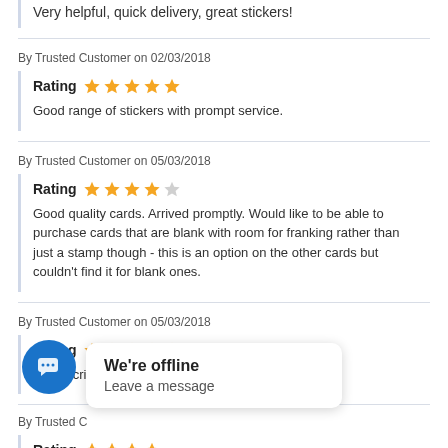Very helpful, quick delivery, great stickers!
By Trusted Customer on 02/03/2018
Rating ★★★★★
Good range of stickers with prompt service.
By Trusted Customer on 05/03/2018
Rating ★★★★☆
Good quality cards. Arrived promptly. Would like to be able to purchase cards that are blank with room for franking rather than just a stamp though - this is an option on the other cards but couldn't find it for blank ones.
By Trusted Customer on 05/03/2018
Rating ★★★★★
As described. Prompt delivery
[Figure (screenshot): Chat widget showing 'We're offline - Leave a message' popup with blue chat button]
Rating ★★★★